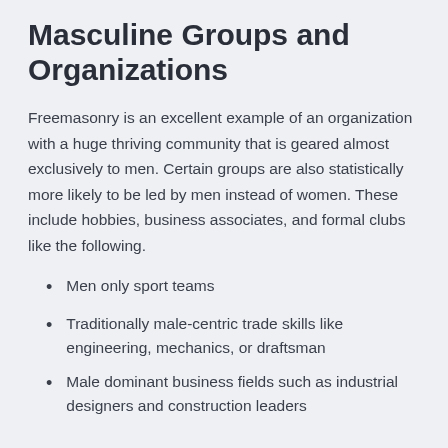Masculine Groups and Organizations
Freemasonry is an excellent example of an organization with a huge thriving community that is geared almost exclusively to men. Certain groups are also statistically more likely to be led by men instead of women. These include hobbies, business associates, and formal clubs like the following.
Men only sport teams
Traditionally male-centric trade skills like engineering, mechanics, or draftsman
Male dominant business fields such as industrial designers and construction leaders